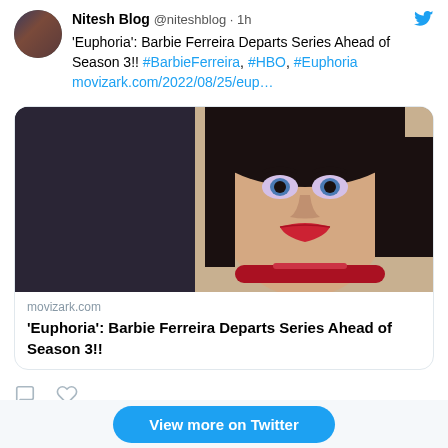Nitesh Blog @niteshblog · 1h
'Euphoria': Barbie Ferreira Departs Series Ahead of Season 3!! #BarbieFerreira, #HBO, #Euphoria movizark.com/2022/08/25/eup…
[Figure (photo): Photo of an actress with dark bob haircut, blue eyes, red lipstick, and a red choker collar, appearing in a scene from the TV show Euphoria]
movizark.com
'Euphoria': Barbie Ferreira Departs Series Ahead of Season 3!!
View more on Twitter